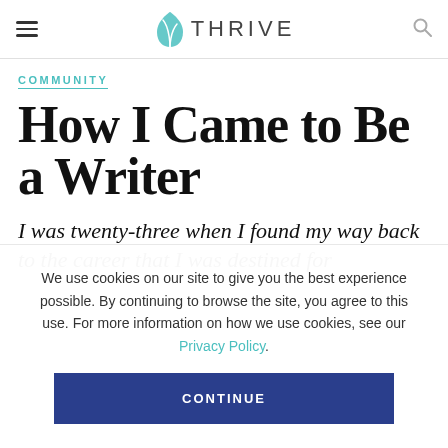THRIVE
COMMUNITY
How I Came to Be a Writer
I was twenty-three when I found my way back to the career that I was destined for
We use cookies on our site to give you the best experience possible. By continuing to browse the site, you agree to this use. For more information on how we use cookies, see our Privacy Policy.
CONTINUE